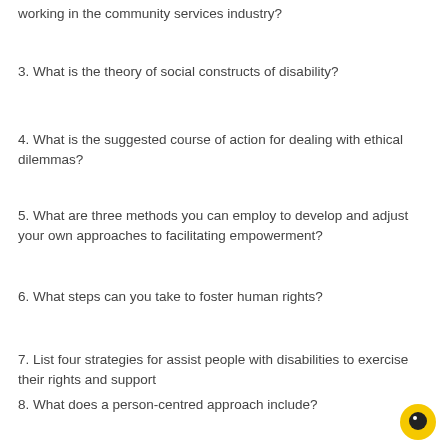working in the community services industry?
3. What is the theory of social constructs of disability?
4. What is the suggested course of action for dealing with ethical dilemmas?
5. What are three methods you can employ to develop and adjust your own approaches to facilitating empowerment?
6. What steps can you take to foster human rights?
7. List four strategies for assist people with disabilities to exercise their rights and support
8. What does a person-centred approach include?